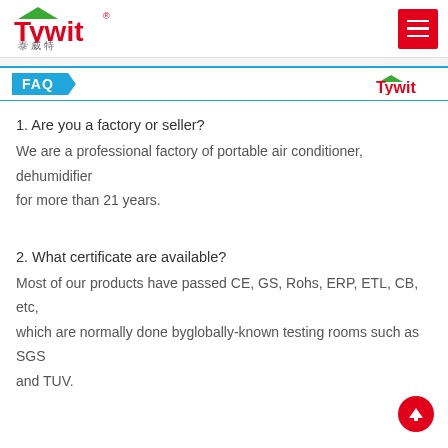Tywit 泰威特
FAQ
1. Are you a factory or seller?
We are a professional factory of portable air conditioner, dehumidifier for more than 21 years.
2. What certificate are available?
Most of our products have passed CE, GS, Rohs, ERP, ETL, CB, etc, which are normally done byglobally-known testing rooms such as SGS and TUV.